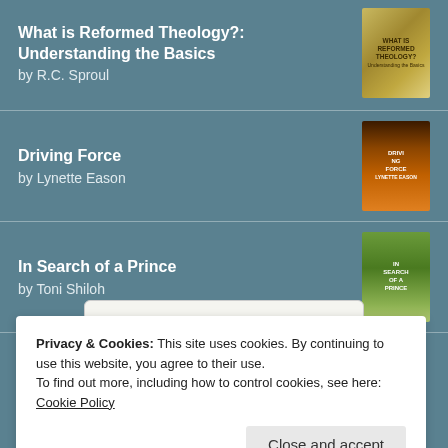What is Reformed Theology?: Understanding the Basics by R.C. Sproul
Driving Force by Lynette Eason
In Search of a Prince by Toni Shiloh
[Figure (logo): Goodreads logo button on white/off-white rounded rectangle background]
Privacy & Cookies: This site uses cookies. By continuing to use this website, you agree to their use.
To find out more, including how to control cookies, see here: Cookie Policy
Close and accept